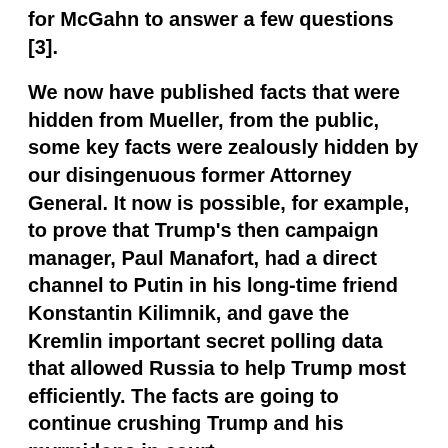for McGahn to answer a few questions [3].
We now have published facts that were hidden from Mueller, from the public, some key facts were zealously hidden by our disingenuous former Attorney General. It now is possible, for example, to prove that Trump's then campaign manager, Paul Manafort, had a direct channel to Putin in his long-time friend Konstantin Kilimnik, and gave the Kremlin important secret polling data that allowed Russia to help Trump most efficiently. The facts are going to continue crushing Trump and his myrmidons in court.
It is dangerous, of course, to underestimate the power of organized rage and blind obedience in human affairs. Our experiment in democracy faces a grave danger from the forces of enraged white grievance